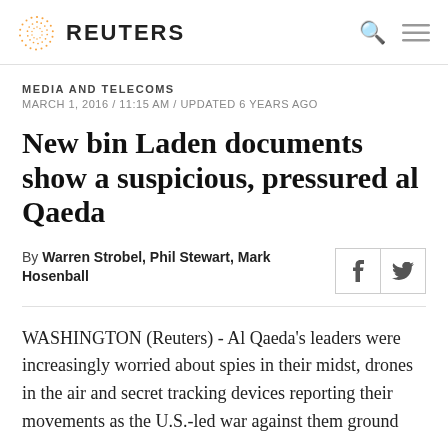REUTERS
MEDIA AND TELECOMS
MARCH 1, 2016 / 11:15 AM / UPDATED 6 YEARS AGO
New bin Laden documents show a suspicious, pressured al Qaeda
By Warren Strobel, Phil Stewart, Mark Hosenball
WASHINGTON (Reuters) - Al Qaeda’s leaders were increasingly worried about spies in their midst, drones in the air and secret tracking devices reporting their movements as the U.S.-led war against them ground